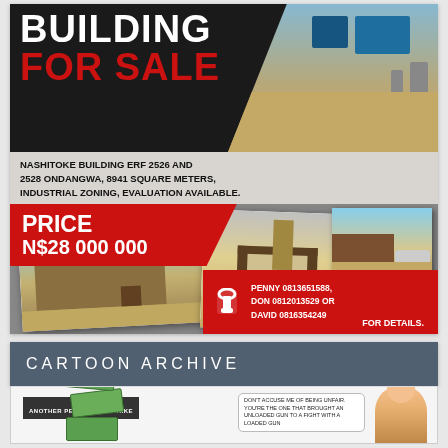[Figure (photo): Industrial building for sale advertisement with photos of Nashitoke Building, showing exterior and interior views]
BUILDING FOR SALE
NASHITOKE BUILDING ERF 2526 AND 2528 ONDANGWA, 8941 SQUARE METERS, INDUSTRIAL ZONING, EVALUATION AVAILABLE.
PRICE N$28 000 000
PENNY 0813651588, DON 0812013529 OR DAVID 0816354249 FOR DETAILS.
CARTOON ARCHIVE
[Figure (illustration): Cartoon with caption ANOTHER PETROL PRICE HIKE showing a character with speech bubble: DON'T ACCUSE ME OF BEING UNFAIR. YOU'RE THE ONE THAT BROUGHT AN UNLOADED GUN TO A FIGHT WITH A LOADED GUN]